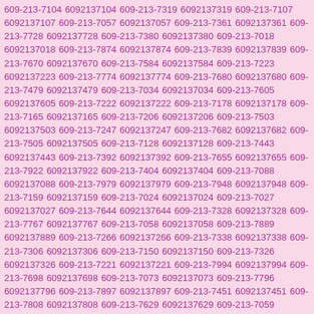609-213-7104 6092137104 609-213-7319 6092137319 609-213-7107 6092137107 609-213-7057 6092137057 609-213-7361 6092137361 609-213-7728 6092137728 609-213-7380 6092137380 609-213-7018 6092137018 609-213-7874 6092137874 609-213-7839 6092137839 609-213-7670 6092137670 609-213-7584 6092137584 609-213-7223 6092137223 609-213-7774 6092137774 609-213-7680 6092137680 609-213-7479 6092137479 609-213-7034 6092137034 609-213-7605 6092137605 609-213-7222 6092137222 609-213-7178 6092137178 609-213-7165 6092137165 609-213-7206 6092137206 609-213-7503 6092137503 609-213-7247 6092137247 609-213-7682 6092137682 609-213-7505 6092137505 609-213-7128 6092137128 609-213-7443 6092137443 609-213-7392 6092137392 609-213-7655 6092137655 609-213-7922 6092137922 609-213-7404 6092137404 609-213-7088 6092137088 609-213-7979 6092137979 609-213-7948 6092137948 609-213-7159 6092137159 609-213-7024 6092137024 609-213-7027 6092137027 609-213-7644 6092137644 609-213-7328 6092137328 609-213-7767 6092137767 609-213-7058 6092137058 609-213-7889 6092137889 609-213-7266 6092137266 609-213-7338 6092137338 609-213-7306 6092137306 609-213-7150 6092137150 609-213-7326 6092137326 609-213-7221 6092137221 609-213-7994 6092137994 609-213-7698 6092137698 609-213-7073 6092137073 609-213-7796 6092137796 609-213-7897 6092137897 609-213-7451 6092137451 609-213-7808 6092137808 609-213-7629 6092137629 609-213-7059 6092137059 609-213-7563 6092137563 609-213-7856 6092137856 609-213-7965 6092137965 609-213-7299 6092137299 609-213-7261 6092137261 609-213-7303 6092137303 609-213-7290 6092137290 609-213-7571 6092137571 609-213-7121 6092137121 609-213-7119